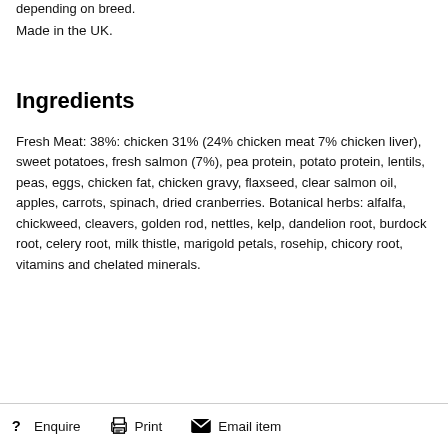depending on breed.
Made in the UK.
Ingredients
Fresh Meat: 38%: chicken 31% (24% chicken meat 7% chicken liver), sweet potatoes, fresh salmon (7%), pea protein, potato protein, lentils, peas, eggs, chicken fat, chicken gravy, flaxseed, clear salmon oil, apples, carrots, spinach, dried cranberries. Botanical herbs: alfalfa, chickweed, cleavers, golden rod, nettles, kelp, dandelion root, burdock root, celery root, milk thistle, marigold petals, rosehip, chicory root, vitamins and chelated minerals.
Enquire   Print   Email item